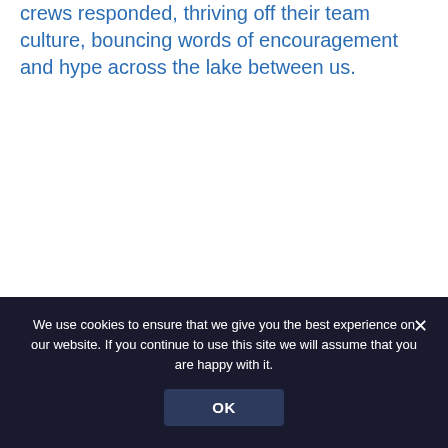crews responded, thriving off their team culture, bouncing words of encouragement and hype across the lake between us.
[Figure (screenshot): Embedded tweet from @WindermereCup: 'Big cheers for the #WindermereCup2022 winners @BritishRowing and @Roeibond' with two images of buildings/events below, Twitter bird icon and Follow button visible in header.]
We use cookies to ensure that we give you the best experience on our website. If you continue to use this site we will assume that you are happy with it.